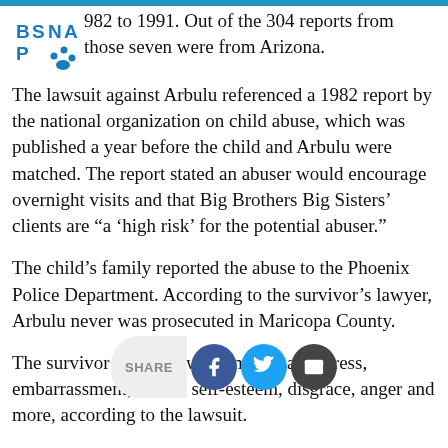[Figure (logo): BSNAP organization logo in blue]
982 to 1991. Out of the 304 reports from those seven were from Arizona.
The lawsuit against Arbulu referenced a 1982 report by the national organization on child abuse, which was published a year before the child and Arbulu were matched. The report stated an abuser would encourage overnight visits and that Big Brothers Big Sisters' clients are “a ‘high risk’ for the potential abuser.”
The child’s family reported the abuse to the Phoenix Police Department. According to the survivor’s lawyer, Arbulu never was prosecuted in Maricopa County.
The survivor has dealt with emotional distress, embarrassment, loss of self-esteem, disgrace, anger and more, according to the lawsuit.
Decades later Arbulu was convicted of molesting children in California. He was sentenced to